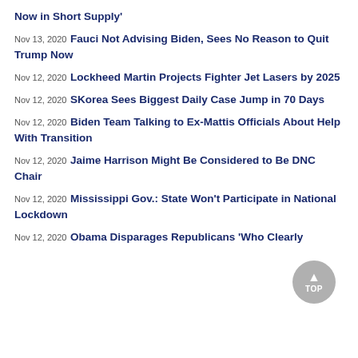Now in Short Supply'
Nov 13, 2020 Fauci Not Advising Biden, Sees No Reason to Quit Trump Now
Nov 12, 2020 Lockheed Martin Projects Fighter Jet Lasers by 2025
Nov 12, 2020 SKorea Sees Biggest Daily Case Jump in 70 Days
Nov 12, 2020 Biden Team Talking to Ex-Mattis Officials About Help With Transition
Nov 12, 2020 Jaime Harrison Might Be Considered to Be DNC Chair
Nov 12, 2020 Mississippi Gov.: State Won't Participate in National Lockdown
Nov 12, 2020 Obama Disparages Republicans 'Who Clearly